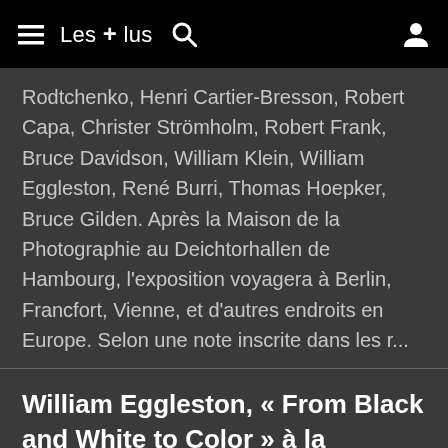≡ Les + lus 🔍 👤
Rodtchenko, Henri Cartier-Bresson, Robert Capa, Christer Strömholm, Robert Frank, Bruce Davidson, William Klein, William Eggleston, René Burri, Thomas Hoepker, Bruce Gilden. Après la Maison de la Photographie au Deichtorhallen de Hambourg, l'exposition voyagera à Berlin, Francfort, Vienne, et d'autres endroits en Europe. Selon une note inscrite dans les r...
William Eggleston, « From Black and White to Color » à la Fondation Henri Cartier-Bresson